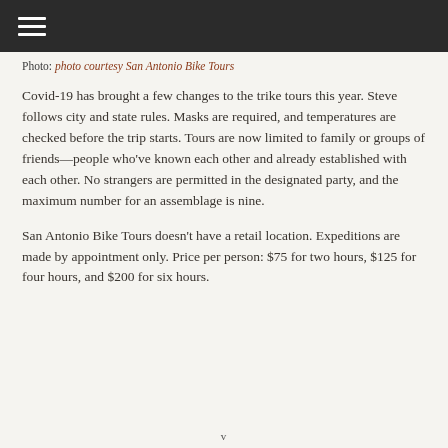≡
Photo: photo courtesy San Antonio Bike Tours
Covid-19 has brought a few changes to the trike tours this year. Steve follows city and state rules. Masks are required, and temperatures are checked before the trip starts. Tours are now limited to family or groups of friends—people who've known each other and already established with each other. No strangers are permitted in the designated party, and the maximum number for an assemblage is nine.
San Antonio Bike Tours doesn't have a retail location. Expeditions are made by appointment only. Price per person: $75 for two hours, $125 for four hours, and $200 for six hours.
v